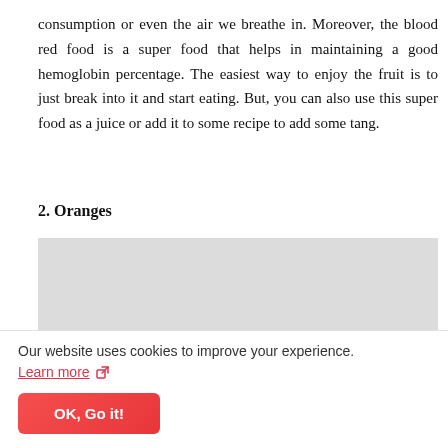consumption or even the air we breathe in. Moreover, the blood red food is a super food that helps in maintaining a good hemoglobin percentage. The easiest way to enjoy the fruit is to just break into it and start eating. But, you can also use this super food as a juice or add it to some recipe to add some tang.
2. Oranges
[Figure (photo): A cross-section of an orange, showing the inner segments and pulp, cut in half, displayed against a light grey background.]
Our website uses cookies to improve your experience.
Learn more ↗
OK, Go it!